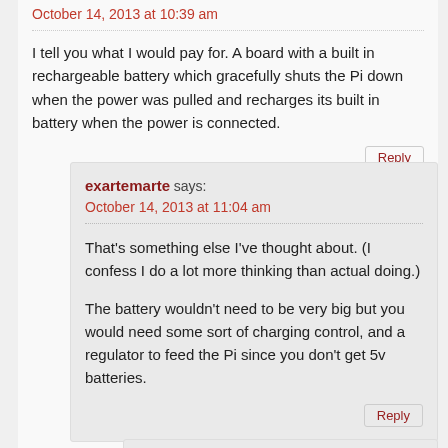October 14, 2013 at 10:39 am
I tell you what I would pay for. A board with a built in rechargeable battery which gracefully shuts the Pi down when the power was pulled and recharges its built in battery when the power is connected.
Reply
exartemarte says:
October 14, 2013 at 11:04 am
That's something else I've thought about. (I confess I do a lot more thinking than actual doing.)
The battery wouldn't need to be very big but you would need some sort of charging control, and a regulator to feed the Pi since you don't get 5v batteries.
Reply